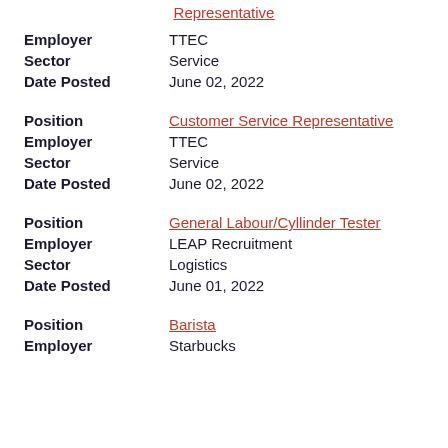Representative (link)
Employer: TTEC
Sector: Service
Date Posted: June 02, 2022
Position: Customer Service Representative (link)
Employer: TTEC
Sector: Service
Date Posted: June 02, 2022
Position: General Labour/Cyllinder Tester (link)
Employer: LEAP Recruitment
Sector: Logistics
Date Posted: June 01, 2022
Position: Barista (link)
Employer: Starbucks